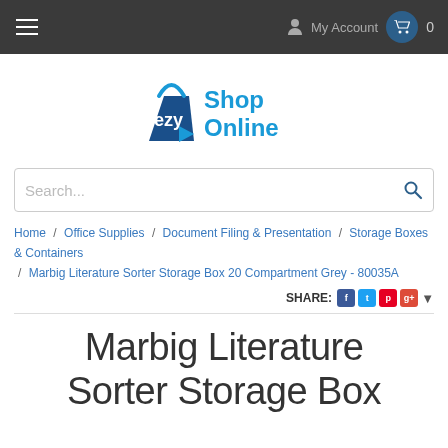≡  My Account  🛒 0
[Figure (logo): ezy Shop Online logo - shopping bag with 'ezy' text and 'Shop Online' in blue]
Search...
Home / Office Supplies / Document Filing & Presentation / Storage Boxes & Containers / Marbig Literature Sorter Storage Box 20 Compartment Grey - 80035A
SHARE:
Marbig Literature Sorter Storage Box